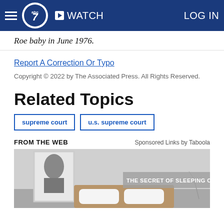ABC7 Navigation bar with hamburger menu, ABC7 logo, WATCH, and LOG IN
Roe baby in June 1976.
Report A Correction Or Typo
Copyright © 2022 by The Associated Press. All Rights Reserved.
Related Topics
supreme court
u.s. supreme court
FROM THE WEB
Sponsored Links by Taboola
[Figure (photo): Advertisement image showing a bedroom with a framed artwork on wall and text overlay: THE SECRET OF SLEEPING ON A CLOUD]